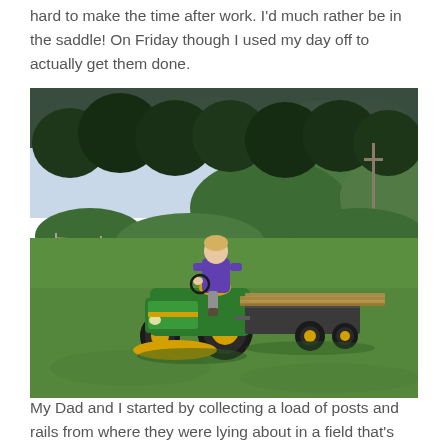hard to make the time after work. I'd much rather be in the saddle! On Friday though I used my day off to actually get them done.
[Figure (photo): Person riding a green John Deere riding lawn mower/tractor with a trailer carrying long wooden posts/rails, in a green grassy field with trees and hills in the background.]
My Dad and I started by collecting a load of posts and rails from where they were lying about in a field that's